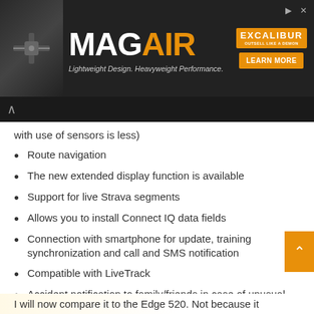[Figure (other): MAGAIR advertisement banner with crossbow image on left, MAG in white and AIR in orange large text, tagline 'Lightweight Design. Heavyweight Performance.', Excalibur logo and 'LEARN MORE' orange button on right]
with use of sensors is less)
Route navigation
The new extended display function is available
Support for live Strava segments
Allows you to install Connect IQ data fields
Connection with smartphone for update, training synchronization and call and SMS notification
Compatible with LiveTrack
Accident notification to family/friends in case of unusual slowdown
Only 32 grams in weight
I will now compare it to the Edge 520. Not because it